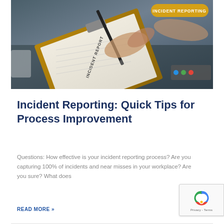[Figure (photo): Person writing on an incident report form on a clipboard at a desk, with hands holding a pen visible]
Incident Reporting: Quick Tips for Process Improvement
Questions: How effective is your incident reporting process? Are you capturing 100% of incidents and near misses in your workplace? Are you sure? What does
READ MORE »